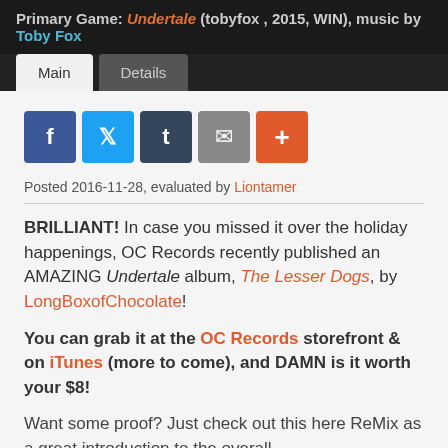Primary Game: Undertale (tobyfox , 2015, WIN), music by Toby Fox
Main | Details (tabs)
[Figure (other): Social share buttons: Facebook, Twitter, Tumblr, Email, Plus]
Posted 2016-11-28, evaluated by Liontamer
BRILLIANT! In case you missed it over the holiday happenings, OC Records recently published an AMAZING Undertale album, The Lesser Dogs, by LongBoxofChocolate!
You can grab it at the OC Records storefront & on iTunes (more to come), and DAMN is it worth your $8!
Want some proof? Just check out this here ReMix as a great introduction to the overall vibe/approach...LBC, aka Trevor Burch, Daniel Perry, Aaron Schmitt, Nick Bello, write: